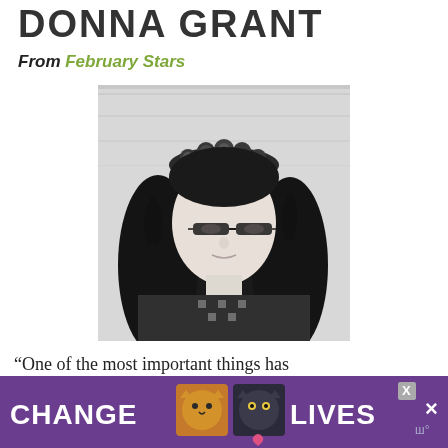DONNA GRANT
From February Stars
[Figure (photo): Black and white portrait photo of a woman with long curly dark hair, wearing glasses and a patterned sweater, with a floral crown on her head. Background is a light wood panel wall.]
“One of the most important things has be... be...
[Figure (infographic): Purple advertisement banner reading CHANGE LIVES with two cat photos and a close button X]